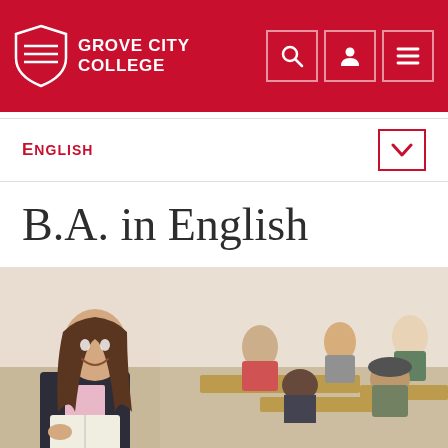Grove City College
English
B.A. in English
[Figure (photo): A female instructor or student stands at the front of a classroom, smiling and holding an open book. Several students are seated at desks in the background, working or listening attentively. The setting is a college classroom with warm wood-toned furniture.]